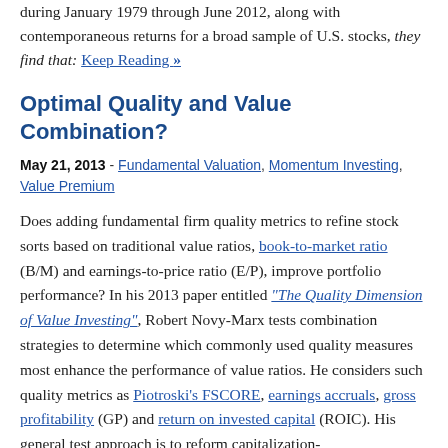during January 1979 through June 2012, along with contemporaneous returns for a broad sample of U.S. stocks, they find that: Keep Reading »
Optimal Quality and Value Combination?
May 21, 2013 - Fundamental Valuation, Momentum Investing, Value Premium
Does adding fundamental firm quality metrics to refine stock sorts based on traditional value ratios, book-to-market ratio (B/M) and earnings-to-price ratio (E/P), improve portfolio performance? In his 2013 paper entitled "The Quality Dimension of Value Investing", Robert Novy-Marx tests combination strategies to determine which commonly used quality measures most enhance the performance of value ratios. He considers such quality metrics as Piotroski's FSCORE, earnings accruals, gross profitability (GP) and return on invested capital (ROIC). His general test approach is to reform capitalization-